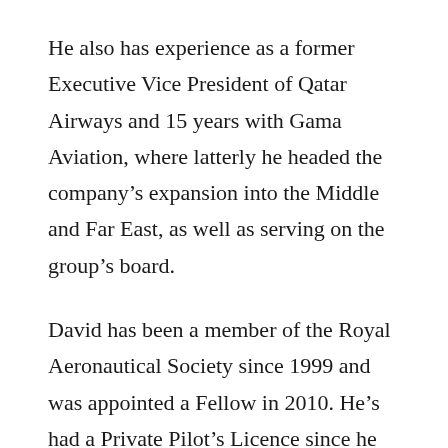He also has experience as a former Executive Vice President of Qatar Airways and 15 years with Gama Aviation, where latterly he headed the company’s expansion into the Middle and Far East, as well as serving on the group’s board.
David has been a member of the Royal Aeronautical Society since 1999 and was appointed a Fellow in 2010. He’s had a Private Pilot’s Licence since he was 17 and holds a degree in Transport Management from the University of Plymouth.
David is a strong advocate for diversity, inclusion and encouraging the next generation of talent to